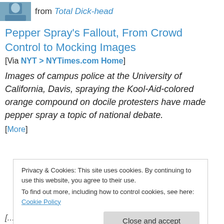[Figure (photo): Small avatar/thumbnail photo of a person in blue tones]
from Total Dick-head
Pepper Spray's Fallout, From Crowd Control to Mocking Images
[Via NYT > NYTimes.com Home]
Images of campus police at the University of California, Davis, spraying the Kool-Aid-colored orange compound on docile protesters have made pepper spray a topic of national debate.
[More]
Privacy & Cookies: This site uses cookies. By continuing to use this website, you agree to their use.
To find out more, including how to control cookies, see here: Cookie Policy
Close and accept
[...thi's] stated in the article: